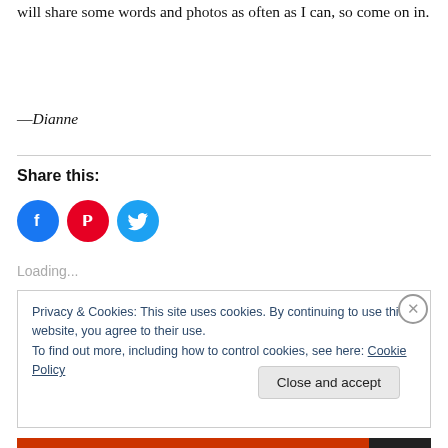will share some words and photos as often as I can, so come on in.
—Dianne
Share this:
[Figure (illustration): Three social media icon circles: Facebook (blue), Pinterest (red), Twitter (cyan)]
Loading...
Privacy & Cookies: This site uses cookies. By continuing to use this website, you agree to their use.
To find out more, including how to control cookies, see here: Cookie Policy